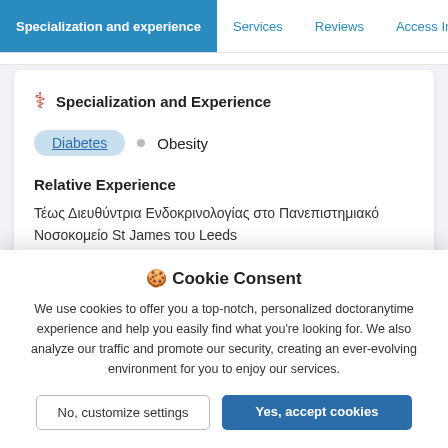Specialization and experience | Services | Reviews | Access Information | Curric
Specialization and Experience
Diabetes
Obesity
Relative Experience
Τέως Διευθύντρια Ενδοκρινολογίας στο Πανεπιστημιακό Νοσοκομείο St James του Leeds
Cookie Consent
We use cookies to offer you a top-notch, personalized doctoranytime experience and help you easily find what you're looking for. We also analyze our traffic and promote our security, creating an ever-evolving environment for you to enjoy our services.
No, customize settings
Yes, accept cookies